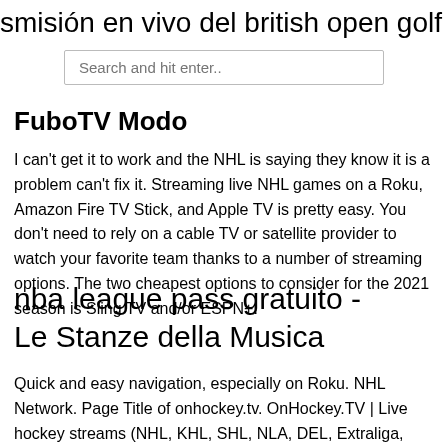smisión en vivo del british open golf
Search and hit enter..
FuboTV Modo
I can't get it to work and the NHL is saying they know it is a problem can't fix it. Streaming live NHL games on a Roku, Amazon Fire TV Stick, and Apple TV is pretty easy. You don't need to rely on a cable TV or satellite provider to watch your favorite team thanks to a number of streaming options. The two cheapest options to consider for the 2021 season is Sling TV and/or ESPN+.
nba league pass gratuito - Le Stanze della Musica
Quick and easy navigation, especially on Roku. NHL Network. Page Title of onhockey.tv. OnHockey.TV | Live hockey streams (NHL, KHL, SHL, NLA, DEL, Extraliga, World Championship, Olympic Games). Meta Description of onhockey.tv.